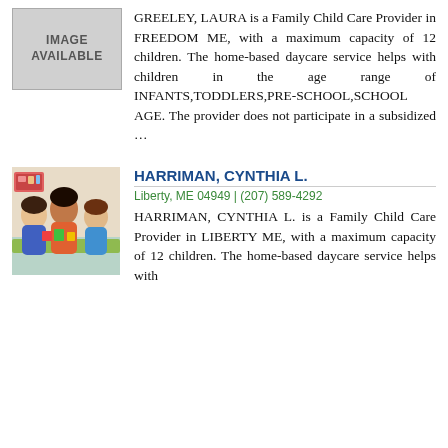[Figure (photo): Placeholder image with text IMAGE AVAILABLE]
GREELEY, LAURA is a Family Child Care Provider in FREEDOM ME, with a maximum capacity of 12 children. The home-based daycare service helps with children in the age range of INFANTS,TODDLERS,PRE-SCHOOL,SCHOOL AGE. The provider does not participate in a subsidized …
[Figure (photo): Photo of children playing at a table with colorful toys in a daycare setting]
HARRIMAN, CYNTHIA L.
Liberty, ME 04949 | (207) 589-4292
HARRIMAN, CYNTHIA L. is a Family Child Care Provider in LIBERTY ME, with a maximum capacity of 12 children. The home-based daycare service helps with